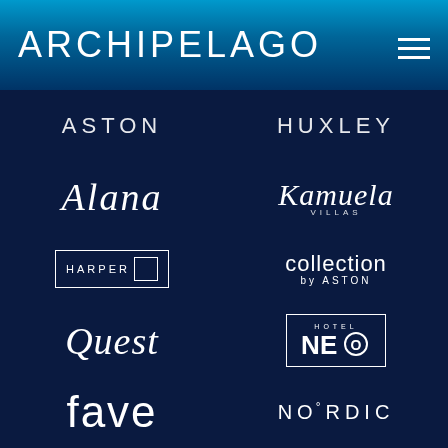[Figure (logo): ARCHIPELAGO wordmark in white on blue ocean background header with hamburger menu icon]
[Figure (logo): ASTON brand logo in white uppercase letters]
[Figure (logo): HUXLEY brand logo in white uppercase letters]
[Figure (logo): Alana brand logo in white italic script]
[Figure (logo): Kamuela Villas brand logo in white italic script with VILLAS subtitle]
[Figure (logo): HARPER brand logo in white uppercase letters with bordered rectangle]
[Figure (logo): collection by ASTON brand logo in white lowercase letters]
[Figure (logo): Quest brand logo in white italic script]
[Figure (logo): HOTEL NEO brand logo in white with boxed letters, circular O]
[Figure (logo): fave brand logo in white lowercase thin letters]
[Figure (logo): NORDIC brand logo in white uppercase letters with degree sign on O]